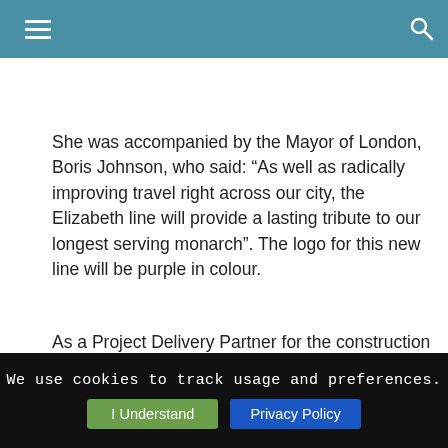Majesty, Queen Elizabeth II, to the building works at Bond Street station.
She was accompanied by the Mayor of London, Boris Johnson, who said: “As well as radically improving travel right across our city, the Elizabeth line will provide a lasting tribute to our longest serving monarch”. The logo for this new line will be purple in colour.
As a Project Delivery Partner for the construction of this new cross-London metro railway, SYSTRA is involved in all phases of the Crossrail project, from detailed design work through to commissioning. The Crossrail projecty will connect Reading to Shenfield and Abbey Wood, via Central London, and will also
We use cookies to track usage and preferences. I Understand  Privacy Policy